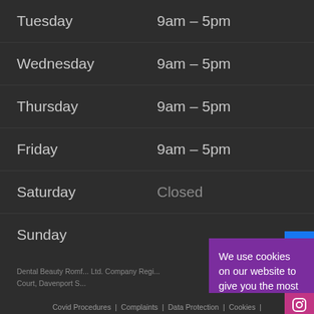| Day | Hours |
| --- | --- |
| Tuesday | 9am – 5pm |
| Wednesday | 9am – 5pm |
| Thursday | 9am – 5pm |
| Friday | 9am – 5pm |
| Saturday | Closed |
| Sunday |  |
We use cookies on our website to give you the most relevant experience by remembering your preferences and repeat visits. By clicking “Accept All”, you consent to the use of ALL the cookies. However, you may visit “Cookie Settings” to provide a controlled consent.
Cookie Settings   Accept All
Dental Beauty Romf... Ltd. Company Regi... Court, Davenport S...
Covid Procedures | Complaints | Data Protection | Cookies |